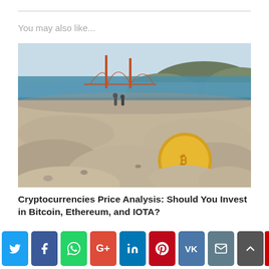You may also like...
[Figure (photo): Beach scene with sand in foreground, a gold bitcoin coin half-buried in sand, two people walking on beach in middle distance, Golden Gate Bridge and hills visible in background across water under a blue sky.]
Cryptocurrencies Price Analysis: Should You Invest in Bitcoin, Ethereum, and IOTA?
[Figure (infographic): Social media sharing bar with buttons: Twitter (light blue), Facebook (dark blue), WhatsApp (green), Google+ (red), LinkedIn (blue), Pinterest (dark red), VK (steel blue), Email (gray), Scroll-to-top (dark gray), and a partial red button on the right edge.]